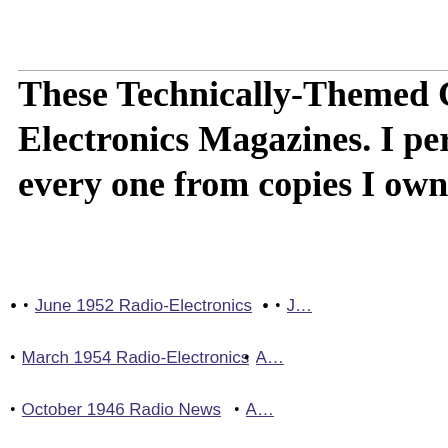These Technically-Themed Comics appear in Electronics Magazines. I personally scanned every one from copies I own (and ev…
June 1952 Radio-Electronics
March 1954 Radio-Electronics
October 1946 Radio News
July 1955 Radio-Electronics
October 1948 Radio & Television News